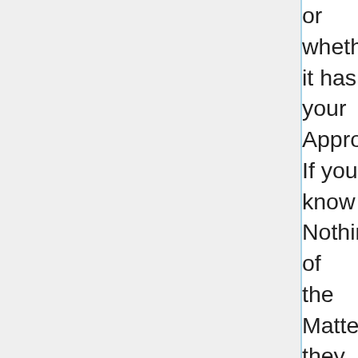or whether it has your Approbation. If you know Nothing of the Matter they desire that you would take an opportunity to send to Philadelphia and learn the Truth of it. And whenever they have a Return from you they will forward Anus's Message if it be agreeable to you. The Indians are much at a Loss to comprehend Anus's Design in calling them down to Philadelphia as they say that Albany is the place appointed for the six Nations to treat with their Brethren the white people upon all Matters whatever I